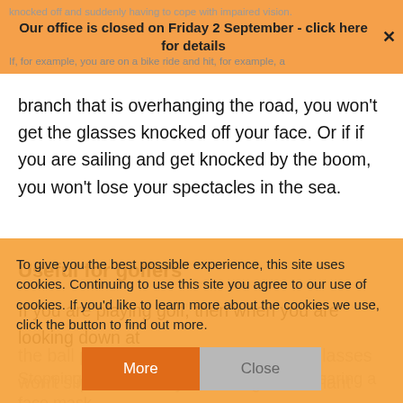knocked off and suddenly having to cope with impaired vision.
Our office is closed on Friday 2 September - click here for details
If, for example, you are on a bike ride and hit, for example, a branch that is overhanging the road, you won't get the glasses knocked off your face. Or if if you are sailing and get knocked by the boom, you won't lose your spectacles in the sea.
Useful for golfers
If you are playing golf, then when you are looking down at the ball preparing to take a shot, your glasses won't slip down and you have good brilliant
Stopping glasses from fogging up when wearing a face mask
To give you the best possible experience, this site uses cookies. Continuing to use this site you agree to our use of cookies. If you'd like to learn more about the cookies we use, click the button to find out more.